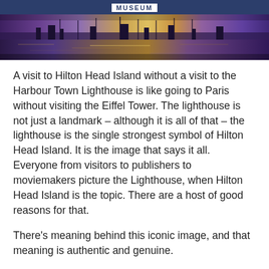MUSEUM
[Figure (photo): Harbour scene with boats reflected in water at dusk/twilight, purple and golden tones]
A visit to Hilton Head Island without a visit to the Harbour Town Lighthouse is like going to Paris without visiting the Eiffel Tower. The lighthouse is not just a landmark – although it is all of that – the lighthouse is the single strongest symbol of Hilton Head Island. It is the image that says it all. Everyone from visitors to publishers to moviemakers picture the Lighthouse, when Hilton Head Island is the topic. There are a host of good reasons for that.
There’s meaning behind this iconic image, and that meaning is authentic and genuine.
Imagining his innovative, nature-friendly approach to resort community, Sea Pines founder Charles Fraser t it was critical that there be a central gathering place, where